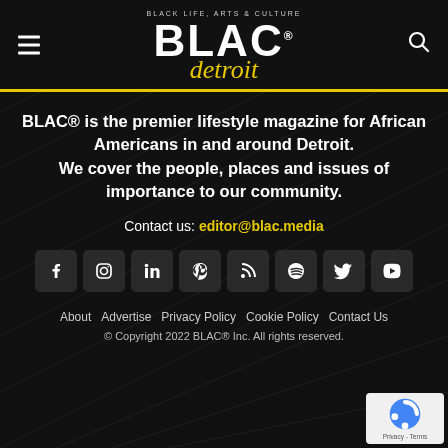BLAC Detroit — BLACK LIFE, ARTS & CULTURE
BLAC® is the premier lifestyle magazine for African Americans in and around Detroit. We cover the people, places and issues of importance to our community.
Contact us: editor@blac.media
[Figure (infographic): Social media icon buttons: Facebook, Instagram, LinkedIn, Pinterest, RSS, Spotify, Twitter, YouTube]
About  Advertise  Privacy Policy  Cookie Policy  Contact Us
© Copyright 2022 BLAC® Inc. All rights reserved.